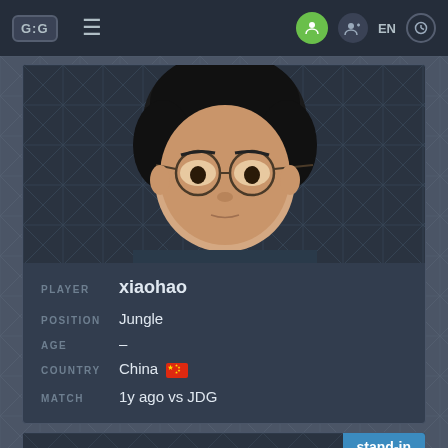G:G navigation bar with hamburger menu, user icon, add user icon, EN, clock icon
[Figure (photo): Profile photo of esports player xiaohao, young Asian male with round glasses and dark hair]
PLAYER xiaohao
POSITION Jungle
AGE –
COUNTRY China 🇨🇳
MATCH 1y ago vs JDG
[Figure (photo): Partial profile photo of second player, back of head visible, with stand-in badge and pencil/edit icon]